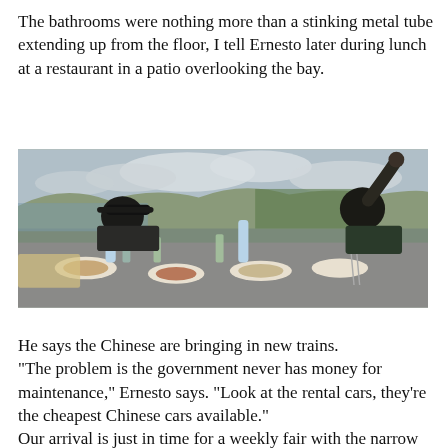The bathrooms were nothing more than a stinking metal tube extending up from the floor, I tell Ernesto later during lunch at a restaurant in a patio overlooking the bay.
[Figure (photo): Two people sitting at a restaurant patio table covered with food and drinks, with a bay and mountains visible in the background under a cloudy sky.]
He says the Chinese are bringing in new trains. "The problem is the government never has money for maintenance," Ernesto says. "Look at the rental cars, they're the cheapest Chinese cars available." Our arrival is just in time for a weekly fair with the narrow